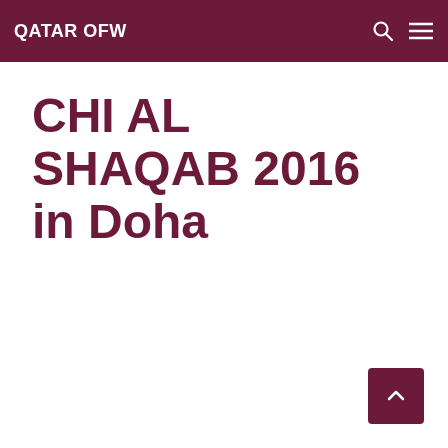QATAR OFW
CHI AL SHAQAB 2016 in Doha